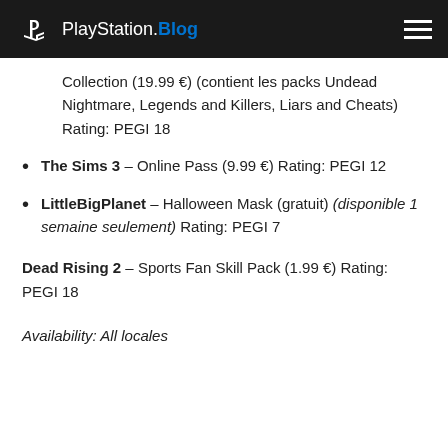PlayStation.Blog
Collection (19.99 €) (contient les packs Undead Nightmare, Legends and Killers, Liars and Cheats) Rating: PEGI 18
The Sims 3 – Online Pass (9.99 €) Rating: PEGI 12
LittleBigPlanet – Halloween Mask (gratuit) (disponible 1 semaine seulement) Rating: PEGI 7
Dead Rising 2 – Sports Fan Skill Pack (1.99 €) Rating: PEGI 18
Availability: All locales